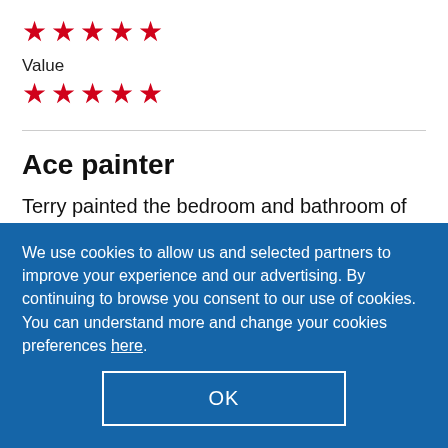[Figure (other): Five red star rating icons in a row]
Value
[Figure (other): Five red star rating icons in a row (Value rating)]
Ace painter
Terry painted the bedroom and bathroom of our flat in Glasgow and did an excellent job. Not
We use cookies to allow us and selected partners to improve your experience and our advertising. By continuing to browse you consent to our use of cookies. You can understand more and change your cookies preferences here.
OK